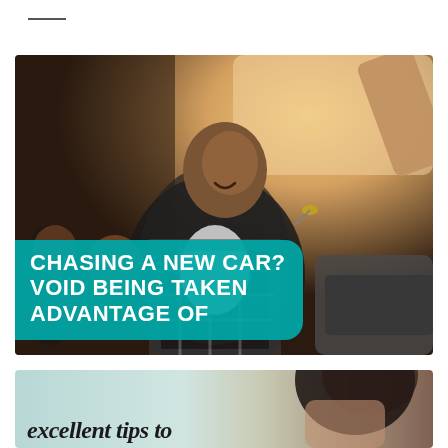[Figure (photo): A smiling young man in a plaid shirt receiving car keys from a dealer, with a woman and child beside him in a car showroom. Warm sunlit background.]
PURCHASING A NEW CAR? AVOID BEING TAKEN ADVANTAGE OF
[Figure (photo): Partial photo of a person, cropped at bottom of page, with text 'excellent tips to' visible.]